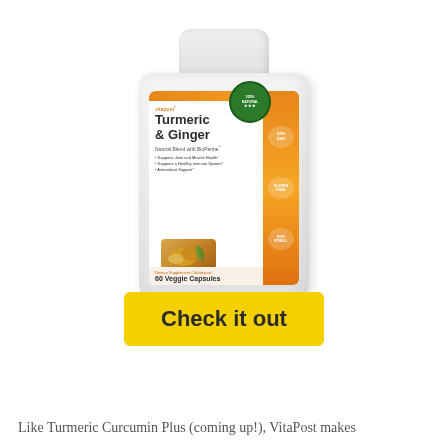[Figure (photo): VitaPost Turmeric & Ginger supplement bottle. White plastic bottle with orange label. Label reads: vitapost Turmeric & Ginger, Natural Blend with BioPerine. Supports Joint and Muscle Health, Supports a Healthy Immune System, Antioxidant Support. 60 Veggie Capsules. Orange side panel with badges. Green NATURAL badge. Ginger and turmeric root imagery on label.]
[Figure (other): Yellow 'Check it out' call-to-action button]
Like Turmeric Curcumin Plus (coming up!), VitaPost makes